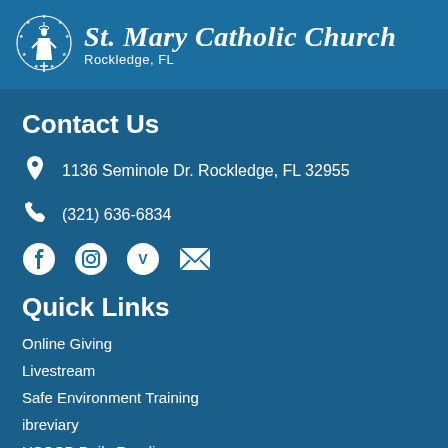St. Mary Catholic Church
Rockledge, FL
Contact Us
1136 Seminole Dr. Rockledge, FL 32955
(321) 636-6834
[Figure (logo): Social media icons: Facebook, Instagram, Vimeo, Email]
Quick Links
Online Giving
Livestream
Safe Environment Training
ibreviary
USCCB Daily Readings